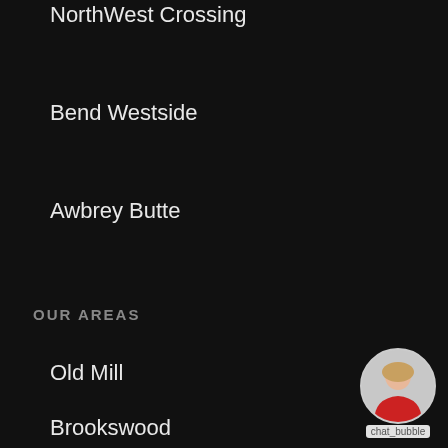NorthWest Crossing
Bend Westside
Awbrey Butte
OUR AREAS
Old Mill
Brookswood
Midtown
Tumalo
Redmond
[Figure (photo): Chat bubble with photo of a woman in a red outfit, labeled 'chat_bubble']